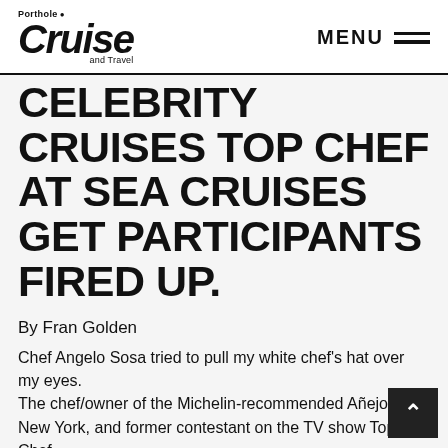Porthole Cruise and Travel — MENU
CELEBRITY CRUISES TOP CHEF AT SEA CRUISES GET PARTICIPANTS FIRED UP.
By Fran Golden
Chef Angelo Sosa tried to pull my white chef's hat over my eyes. The chef/owner of the Michelin-recommended Añejo in New York, and former contestant on the TV show Top Chef,